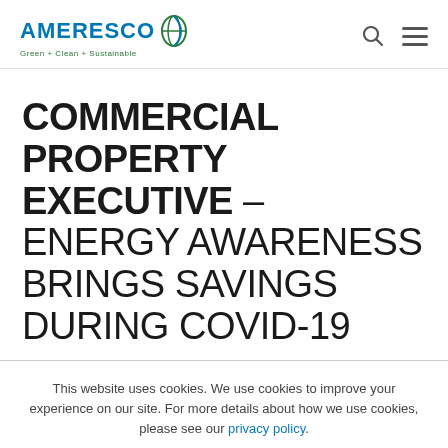AMERESCO Green + Clean + Sustainable
COMMERCIAL PROPERTY EXECUTIVE – ENERGY AWARENESS BRINGS SAVINGS DURING COVID-19
This website uses cookies. We use cookies to improve your experience on our site. For more details about how we use cookies, please see our privacy policy.
Accept
Decline